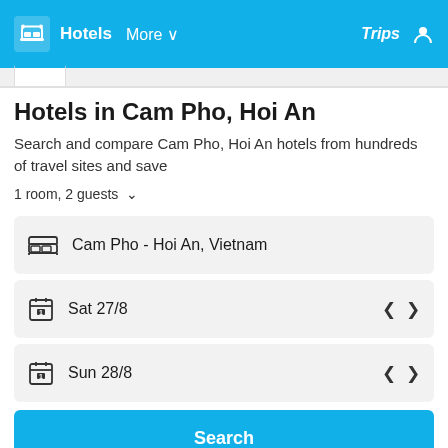Hotels  More  Trips
Hotels in Cam Pho, Hoi An
Search and compare Cam Pho, Hoi An hotels from hundreds of travel sites and save
1 room, 2 guests
Cam Pho - Hoi An, Vietnam
Sat 27/8
Sun 28/8
Search